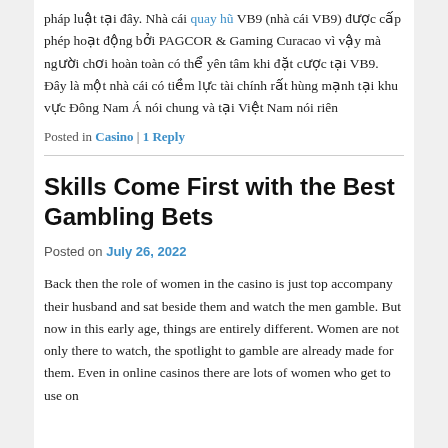pháp luật tại đây. Nhà cái quay hũ VB9 (nhà cái VB9) được cấp phép hoạt động bởi PAGCOR & Gaming Curacao vì vậy mà người chơi hoàn toàn có thể yên tâm khi đặt cược tại VB9. Đây là một nhà cái có tiềm lực tài chính rất hùng mạnh tại khu vực Đông Nam Á nói chung và tại Việt Nam nói riên
Posted in Casino | 1 Reply
Skills Come First with the Best Gambling Bets
Posted on July 26, 2022
Back then the role of women in the casino is just top accompany their husband and sat beside them and watch the men gamble. But now in this early age, things are entirely different. Women are not only there to watch, the spotlight to gamble are already made for them. Even in online casinos there are lots of women who get to use on